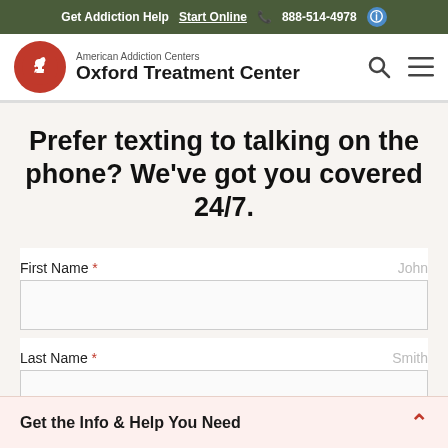Get Addiction Help  Start Online  888-514-4978
[Figure (logo): American Addiction Centers Oxford Treatment Center logo with red circular horse knight icon, search icon and hamburger menu]
Prefer texting to talking on the phone? We've got you covered 24/7.
First Name * — placeholder: John
Last Name * — placeholder: Smith
Get the Info & Help You Need